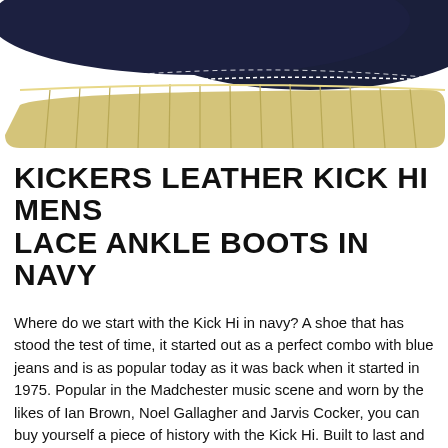[Figure (photo): Bottom portion of a navy leather Kickers Kick Hi ankle boot showing the sole and lower upper against a white background]
KICKERS LEATHER KICK HI MENS LACE ANKLE BOOTS IN NAVY
Where do we start with the Kick Hi in navy? A shoe that has stood the test of time, it started out as a perfect combo with blue jeans and is as popular today as it was back when it started in 1975. Popular in the Madchester music scene and worn by the likes of Ian Brown, Noel Gallagher and Jarvis Cocker, you can buy yourself a piece of history with the Kick Hi. Built to last and look great too, it's no wonder these are one of our best sellers here at Jake shoes. Whether you've only been around a few months or seen many a year pass, the Kick Hi is popular with all ages and all walks of life. A sturdy sole and well built upper means these will last you a life time. Coming in a range of colours means there's something for everyone and all shoes feature the flower tabs for